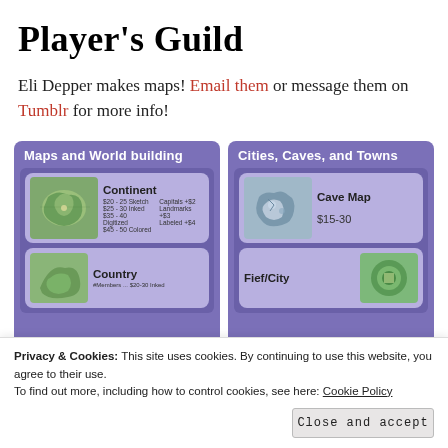Player's Guild
Eli Depper makes maps! Email them or message them on Tumblr for more info!
[Figure (screenshot): Two-column promotional panel showing map commission services: left column 'Maps and World building' with Continent and Country items; right column 'Cities, Caves, and Towns' with Cave Map ($15-30) and Fief/City items]
Privacy & Cookies: This site uses cookies. By continuing to use this website, you agree to their use.
To find out more, including how to control cookies, see here: Cookie Policy
Close and accept